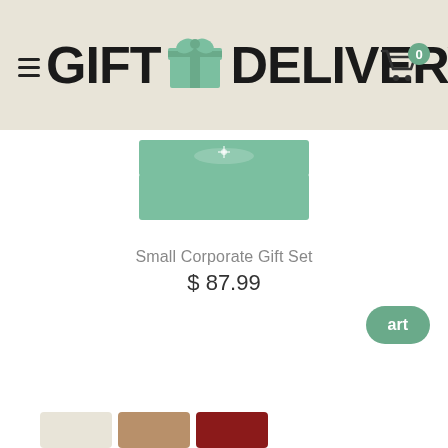GIFT DELIVERY
[Figure (photo): Green gift box with lid, product image for Small Corporate Gift Set]
Small Corporate Gift Set
$ 87.99
[Figure (screenshot): Chat popup with agent photo, X close button, and message: Got any questions? I'm happy to help.]
[Figure (other): Green chat bubble button at bottom left]
[Figure (other): Partial product thumbnails at bottom of page]